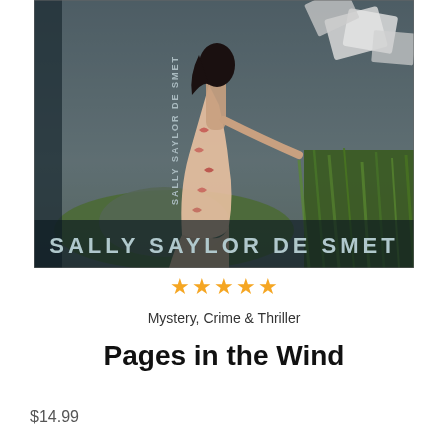[Figure (illustration): Book cover for 'Pages in the Wind' by Sally Saylor De Smet. Dark atmospheric scene with a woman in a white/red floral dress standing in tall grass, papers flying in the wind. Author name 'SALLY SAYLOR DE SMET' written vertically on left spine and horizontally at bottom of cover.]
★★★★★ (2.5 out of 5 stars rating display)
Mystery, Crime & Thriller
Pages in the Wind
$14.99